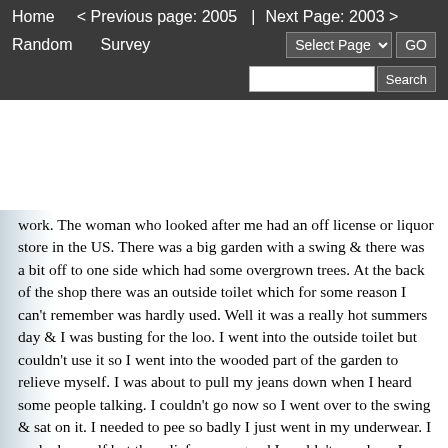Home   < Previous page: 2005  |  Next Page: 2003 >   Random   Survey
work. The woman who looked after me had an off license or liquor store in the US. There was a big garden with a swing & there was a bit off to one side which had some overgrown trees. At the back of the shop there was an outside toilet which for some reason I can't remember was hardly used. Well it was a really hot summers day & I was busting for the loo. I went into the outside toilet but couldn't use it so I went into the wooded part of the garden to relieve myself. I was about to pull my jeans down when I heard some people talking. I couldn't go now so I went over to the swing & sat on it. I needed to pee so badly I just went in my underwear. I soaked myself but the relief was so good I couldn't care less. I dried off quickly in the hot sun but I really had to poo as well. As usual I'd been holding it all day & the urge was getting too much for me to resist. I got off the swing & went back to the wooded part of the garden to see if anyone was about. There was on one there so I started to undo my jeans. I felt my anus open without warning & I needed to go so badly I began to go in my pants. I heard